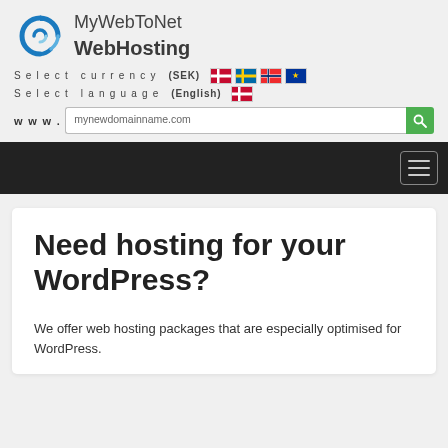[Figure (logo): MyWebToNet WebHosting logo with blue swirl graphic and text]
Select currency (SEK) [flags] Select language (English) [flag]
www. mynewdomainname.com [search button]
[Figure (screenshot): Dark navigation bar with hamburger menu icon]
Need hosting for your WordPress?
We offer web hosting packages that are especially optimised for WordPress.